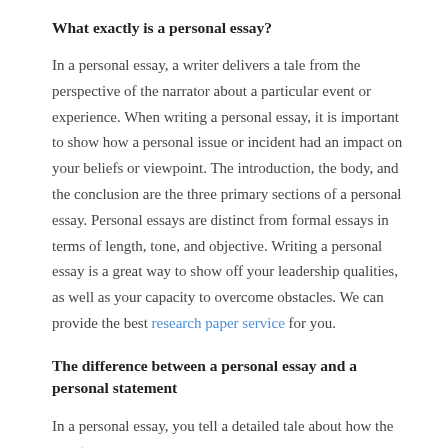What exactly is a personal essay?
In a personal essay, a writer delivers a tale from the perspective of the narrator about a particular event or experience. When writing a personal essay, it is important to show how a personal issue or incident had an impact on your beliefs or viewpoint. The introduction, the body, and the conclusion are the three primary sections of a personal essay. Personal essays are distinct from formal essays in terms of length, tone, and objective. Writing a personal essay is a great way to show off your leadership qualities, as well as your capacity to overcome obstacles. We can provide the best research paper service for you.
The difference between a personal essay and a personal statement
In a personal essay, you tell a detailed tale about how the event